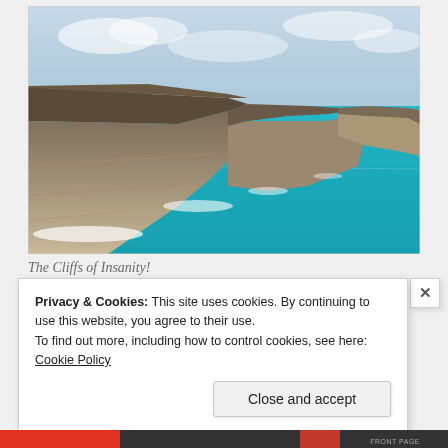[Figure (photo): Coastal cliff landscape with bright turquoise ocean water and dramatic rocky cliff faces stretching into the distance under a partly cloudy sky. The Bunda Cliffs or similar Australian coastal cliffs.]
The Cliffs of Insanity!
Privacy & Cookies: This site uses cookies. By continuing to use this website, you agree to their use.
To find out more, including how to control cookies, see here: Cookie Policy
Close and accept